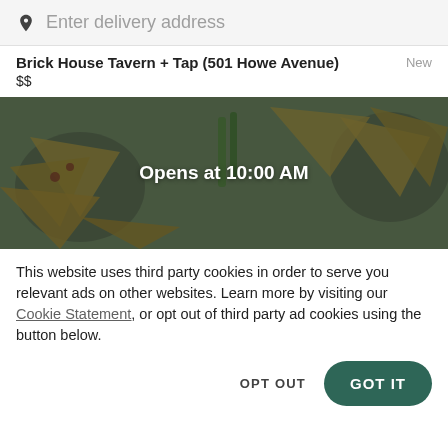Enter delivery address
Brick House Tavern + Tap (501 Howe Avenue)  New
$$
[Figure (photo): Restaurant food photo showing pizza slices on plates, with a dark overlay and text 'Opens at 10:00 AM' centered in white bold text]
This website uses third party cookies in order to serve you relevant ads on other websites. Learn more by visiting our Cookie Statement, or opt out of third party ad cookies using the button below.
OPT OUT   GOT IT